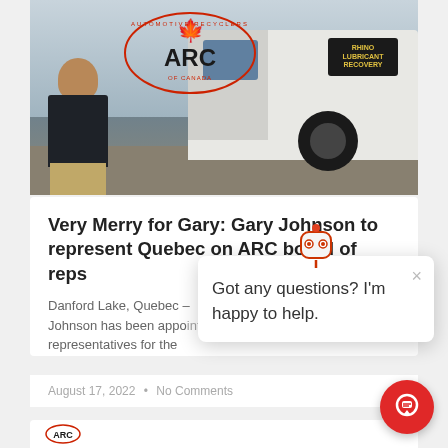[Figure (photo): Photo of a man in a dark polo shirt standing in front of a white truck with the ARC (Automotive Recyclers of Canada) logo on it.]
Very Merry for Gary: Gary Johnson to represent Quebec on ARC board of reps
Danford Lake, Quebec — Johnson has been appointed as representatives for the
[Figure (screenshot): Chatbot popup with robot icon showing message: Got any questions? I'm happy to help. With an X close button.]
August 17, 2022  •  No Comments